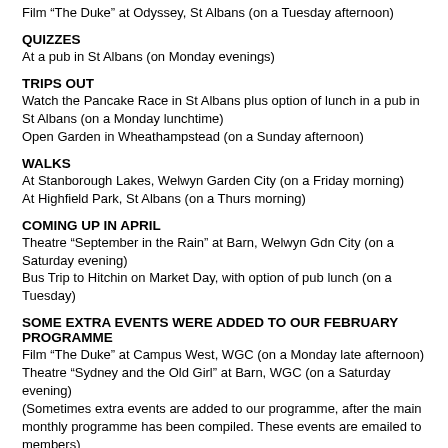Film “The Duke” at Odyssey, St Albans (on a Tuesday afternoon)
QUIZZES
At a pub in St Albans (on Monday evenings)
TRIPS OUT
Watch the Pancake Race in St Albans plus option of lunch in a pub in St Albans (on a Monday lunchtime)
Open Garden in Wheathampstead (on a Sunday afternoon)
WALKS
At Stanborough Lakes, Welwyn Garden City (on a Friday morning)
At Highfield Park, St Albans (on a Thurs morning)
COMING UP IN APRIL
Theatre “September in the Rain” at Barn, Welwyn Gdn City (on a Saturday evening)
Bus Trip to Hitchin on Market Day, with option of pub lunch (on a Tuesday)
SOME EXTRA EVENTS WERE ADDED TO OUR FEBRUARY PROGRAMME
Film “The Duke” at Campus West, WGC (on a Monday late afternoon)
Theatre “Sydney and the Old Girl” at Barn, WGC (on a Saturday evening)
(Sometimes extra events are added to our programme, after the main monthly programme has been compiled. These events are emailed to members)
One of our February events had to be cancelled because of storm Eunice